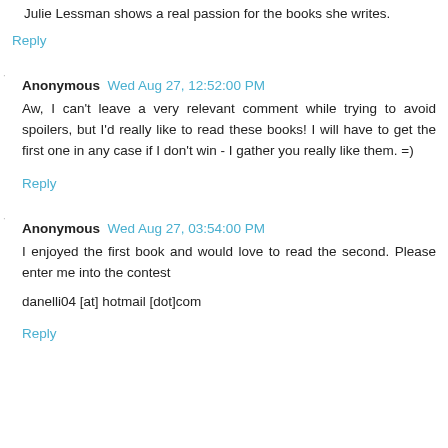Julie Lessman shows a real passion for the books she writes.
Reply
Anonymous  Wed Aug 27, 12:52:00 PM
Aw, I can't leave a very relevant comment while trying to avoid spoilers, but I'd really like to read these books! I will have to get the first one in any case if I don't win - I gather you really like them. =)
Reply
Anonymous  Wed Aug 27, 03:54:00 PM
I enjoyed the first book and would love to read the second. Please enter me into the contest
danelli04 [at] hotmail [dot]com
Reply